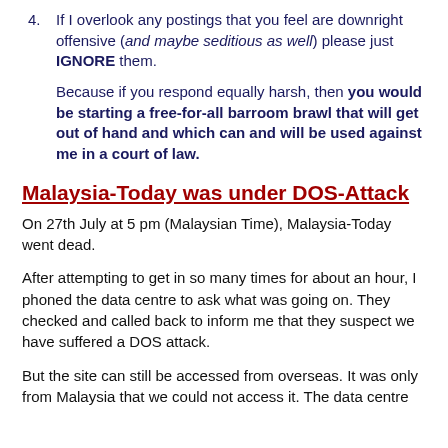4. If I overlook any postings that you feel are downright offensive (and maybe seditious as well) please just IGNORE them.
Because if you respond equally harsh, then you would be starting a free-for-all barroom brawl that will get out of hand and which can and will be used against me in a court of law.
Malaysia-Today was under DOS-Attack
On 27th July at 5 pm (Malaysian Time), Malaysia-Today went dead.
After attempting to get in so many times for about an hour, I phoned the data centre to ask what was going on. They checked and called back to inform me that they suspect we have suffered a DOS attack.
But the site can still be accessed from overseas. It was only from Malaysia that we could not access it. The data centre